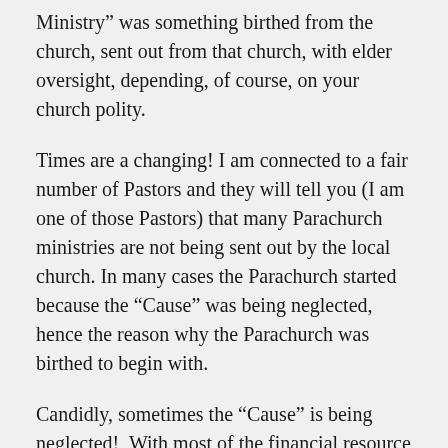Ministry” was something birthed from the church, sent out from that church, with elder oversight, depending, of course, on your church polity.
Times are a changing! I am connected to a fair number of Pastors and they will tell you (I am one of those Pastors) that many Parachurch ministries are not being sent out by the local church. In many cases the Parachurch started because the “Cause” was being neglected, hence the reason why the Parachurch was birthed to begin with.
Candidly, sometimes the “Cause” is being neglected!  With most of the financial resource within the church already allocated by way of the church budget, it becomes difficult to say yes to a Parachurch ministry looking for ongoing, monthly support.